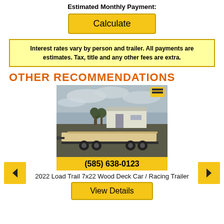Estimated Monthly Payment:
Calculate
Interest rates vary by person and trailer. All payments are estimates. Tax, title and any other fees are extra.
OTHER RECOMMENDATIONS
[Figure (photo): Photo of a 2022 Load Trail 7x22 Wood Deck Car / Racing Trailer parked outdoors with a building and trees in the background. Phone number (585) 638-0123 shown in yellow bar below.]
2022 Load Trail 7x22 Wood Deck Car / Racing Trailer
View Details